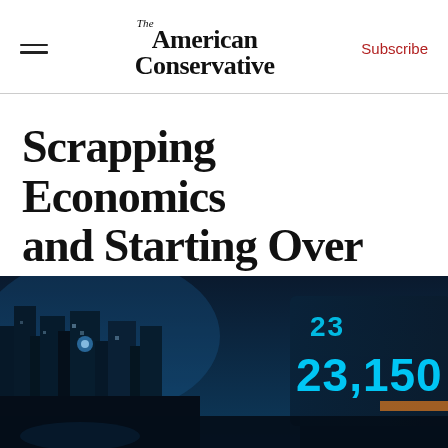The American Conservative | Subscribe
Scrapping Economics and Starting Over
Market fundamentalism has been exposed as soulless. Before we forge ahead, we need to realize the scope of what we've lost.
[Figure (photo): Blue-tinted cityscape at night with stock market ticker display showing numbers 23,150]